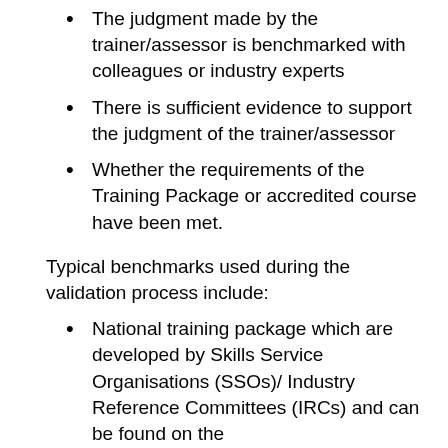The judgment made by the trainer/assessor is benchmarked with colleagues or industry experts
There is sufficient evidence to support the judgment of the trainer/assessor
Whether the requirements of the Training Package or accredited course have been met.
Typical benchmarks used during the validation process include:
National training package which are developed by Skills Service Organisations (SSOs)/ Industry Reference Committees (IRCs) and can be found on the